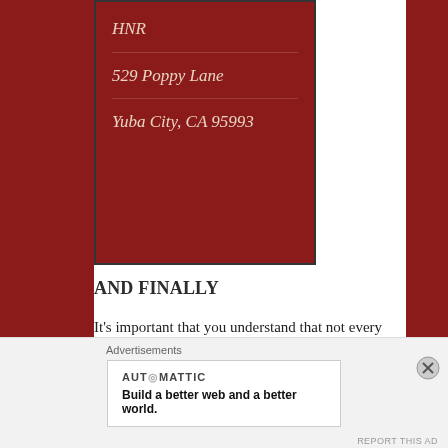HNR
529 Poppy Lane
Yuba City, CA 95993
AND FINALLY
It's important that you understand that not every submitted work will be covered. Our number of contributors is always shifting, and we cannot possibly keep up with every last submission that comes our way. We'd love to be able to cover every last submission,
Advertisements
AUTOMATTIC
Build a better web and a better world.